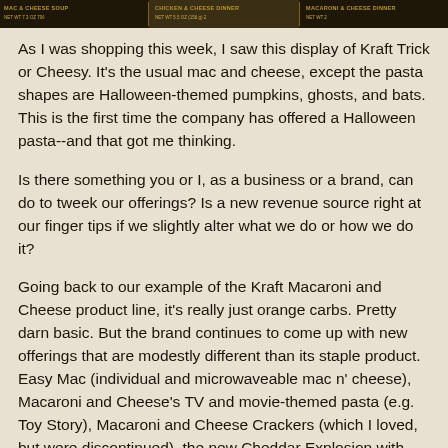[Figure (photo): A banner/strip image showing multiple Kraft mac and cheese product boxes side by side, with text labels including 'Mac & Cheese Soup', 'Chicken & Cheese Dinner', and 'Macaroni & Cheese Dinner' with net weight information.]
As I was shopping this week, I saw this display of Kraft Trick or Cheesy. It's the usual mac and cheese, except the pasta shapes are Halloween-themed pumpkins, ghosts, and bats. This is the first time the company has offered a Halloween pasta--and that got me thinking.
Is there something you or I, as a business or a brand, can do to tweek our offerings? Is a new revenue source right at our finger tips if we slightly alter what we do or how we do it?
Going back to our example of the Kraft Macaroni and Cheese product line, it's really just orange carbs. Pretty darn basic. But the brand continues to come up with new offerings that are modestly different than its staple product. Easy Mac (individual and microwaveable mac n' cheese), Macaroni and Cheese's TV and movie-themed pasta (e.g. Toy Story), Macaroni and Cheese Crackers (which I loved, but were discontinued), the new Cheddar Explosion with extra cheese sauce, and Homestyle Deluxe Macaroni and Cheese that launched this year in three new flavors. Now, this isn't a fluff piece for Kraft. I simply use these as examples to get us